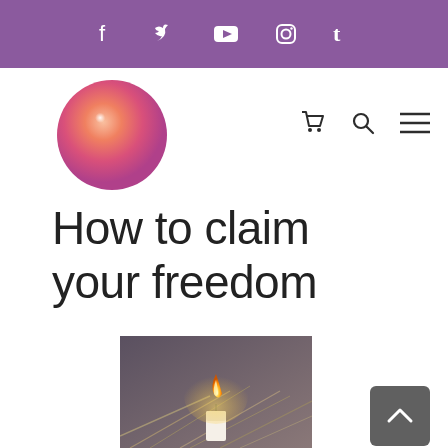Social media icons bar: Facebook, Twitter, YouTube, Instagram, Tumblr
[Figure (logo): Round gradient orb logo — pink to orange with white highlight]
[Figure (illustration): Navigation icons: shopping cart, magnifier/search, hamburger menu]
How to claim your freedom
[Figure (photo): Photo of a lit candle flame against a background of dry straw/grass]
[Figure (other): Grey back-to-top button with upward chevron arrow]